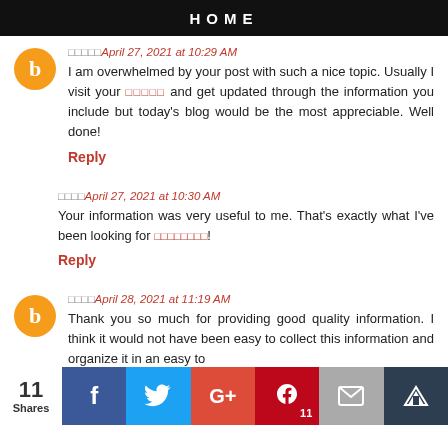HOME
□□□□□ April 27, 2021 at 10:29 AM
I am overwhelmed by your post with such a nice topic. Usually I visit your □□□□□ and get updated through the information you include but today's blog would be the most appreciable. Well done!
Reply
□□□□ April 27, 2021 at 10:30 AM
Your information was very useful to me. That's exactly what I've been looking for □□□□□□□□!
Reply
□□□□ April 28, 2021 at 11:19 AM
Thank you so much for providing good quality information. I think it would not have been easy to collect this information and organize it in an easy to
11 Shares | f | Twitter | G+ | Pinterest 11 | Mail | Crown